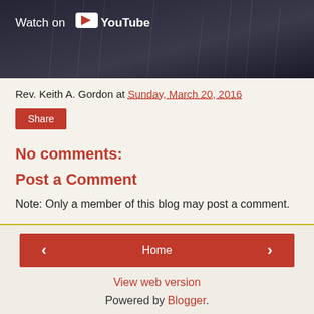[Figure (screenshot): YouTube video thumbnail with dark/rainy background and 'Watch on YouTube' overlay text and logo]
Rev. Keith A. Gordon at Sunday, March 20, 2016
Share
No comments:
Post a Comment
Note: Only a member of this blog may post a comment.
< Home >
View web version
Powered by Blogger.